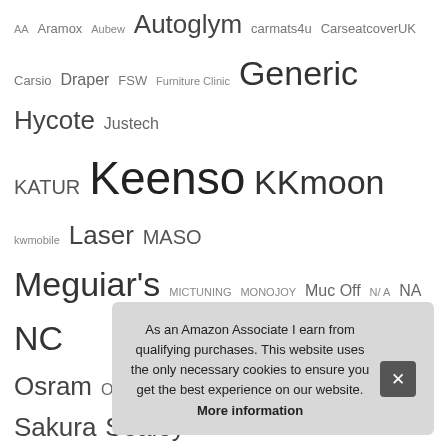[Figure (other): Tag cloud of brand/product names in varying font sizes: AA, Aramox, Aubew, Autoglym, carmats4u, CarseatcoverUK, Carsio, Draper, FSW, Furniture Clinic, Generic, Hycote, Justech, KATUR, Keenso, KKmoon, kwmobile, Laser, MASO, Meguiar's, MICTUNING, MONOJOY, Muc Off, N/A, NA, NC, Osram, OXFORD, Precision, Qiilu, Ring Automotive, Sakura, Sealey, Silverline, Simply, Streetwize Accessories, Texpeed, TRIXES, Turtle Wax, UGREEN, UKB4C, Unknown, WD-40, Wheels N Bits, Xtremeauto]
Recent Posts
T... Unit...
T...
T...
As an Amazon Associate I earn from qualifying purchases. This website uses the only necessary cookies to ensure you get the best experience on our website. More information